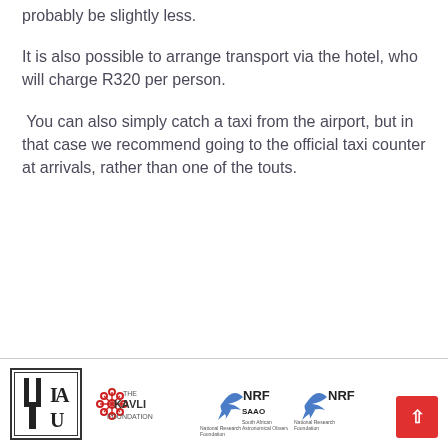probably be slightly less.
It is also possible to arrange transport via the hotel, who will charge R320 per person.
You can also simply catch a taxi from the airport, but in that case we recommend going to the official taxi counter at arrivals, rather than one of the touts.
[Figure (logo): Footer logos: IAU, The Kavli Foundation, NRF SAAO, NRF]